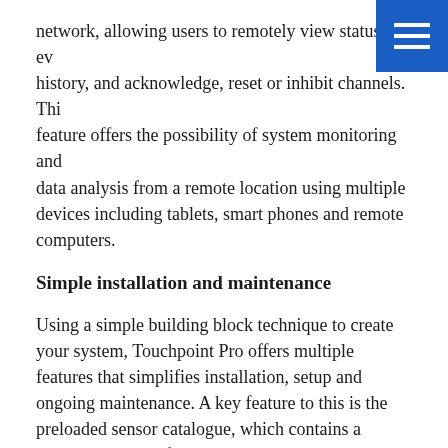network, allowing users to remotely view status and event history, and acknowledge, reset or inhibit channels. This feature offers the possibility of system monitoring and data analysis from a remote location using multiple devices including tablets, smart phones and remote computers.
Simple installation and maintenance
Using a simple building block technique to create your system, Touchpoint Pro offers multiple features that simplifies installation, setup and ongoing maintenance. A key feature to this is the preloaded sensor catalogue, which contains a complete listing of all Honeywell Analytics' gas sensors, each with a full default configuration setting. A user can choose to configure input channel settings from the sensor catalogue, resulting in a quick and simple three step configuration process. The rest of the configuration will be loaded automatically.